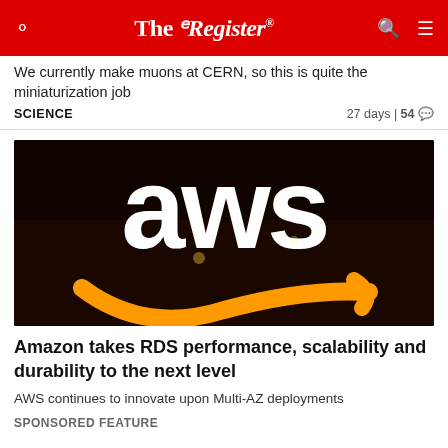The Register
We currently make muons at CERN, so this is quite the miniaturization job
SCIENCE    27 days | 54
[Figure (photo): AWS illuminated logo sign with Amazon arrow, dark background]
Amazon takes RDS performance, scalability and durability to the next level
AWS continues to innovate upon Multi-AZ deployments
SPONSORED FEATURE